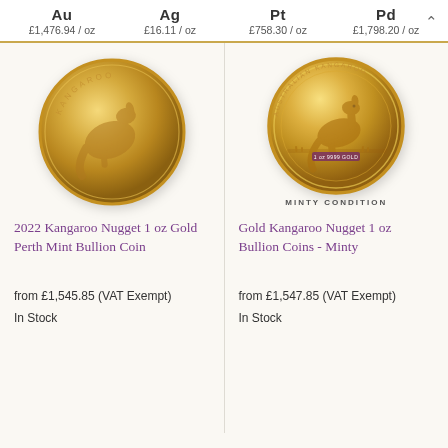Au £1,476.94 / oz   Ag £16.11 / oz   Pt £758.30 / oz   Pd £1,798.20 / oz
[Figure (photo): Gold kangaroo bullion coin - 2022 Perth Mint, showing kangaroo and joey motif]
2022 Kangaroo Nugget 1 oz Gold Perth Mint Bullion Coin
from £1,545.85 (VAT Exempt)
In Stock
[Figure (photo): Gold kangaroo nugget bullion coin in minty condition, showing kangaroo in outback motif with MINTY CONDITION label]
Gold Kangaroo Nugget 1 oz Bullion Coins - Minty
from £1,547.85 (VAT Exempt)
In Stock